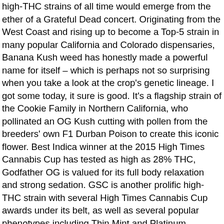high-THC strains of all time would emerge from the ether of a Grateful Dead concert. Originating from the West Coast and rising up to become a Top-5 strain in many popular California and Colorado dispensaries, Banana Kush weed has honestly made a powerful name for itself – which is perhaps not so surprising when you take a look at the crop's genetic lineage. I got some today, it sure is good. It's a flagship strain of the Cookie Family in Northern California, who pollinated an OG Kush cutting with pollen from the breeders' own F1 Durban Poison to create this iconic flower. Best Indica winner at the 2015 High Times Cannabis Cup has tested as high as 28% THC, Godfather OG is valued for its full body relaxation and strong sedation. GSC is another prolific high-THC strain with several High Times Cannabis Cup awards under its belt, as well as several popular phenotypes including Thin Mint and Platinum Cookies. Banana Cookies OG (75%-Indica ) | Indica | 7 Point Delivery 18 recipes Filter. I put those packs in there...think that's a good idea? Confidential, and Granddaddy Purps, and OG Kush,. Online sources place the